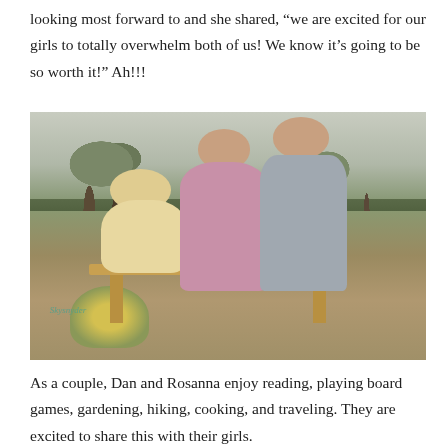looking most forward to and she shared, “we are excited for our girls to totally overwhelm both of us! We know it’s going to be so worth it!” Ah!!!
[Figure (photo): A pregnant woman in a pink dress and a man in a grey blazer sit on a wooden bench in a garden setting with a golden retriever dog sitting beside them. Yellow flowers and trees are visible in the background. A watermark reading 'Skysnyder' appears in the lower left.]
As a couple, Dan and Rosanna enjoy reading, playing board games, gardening, hiking, cooking, and traveling. They are excited to share this with their girls.